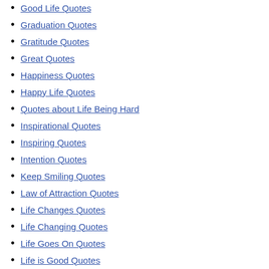Good Life Quotes
Graduation Quotes
Gratitude Quotes
Great Quotes
Happiness Quotes
Happy Life Quotes
Quotes about Life Being Hard
Inspirational Quotes
Inspiring Quotes
Intention Quotes
Keep Smiling Quotes
Law of Attraction Quotes
Life Changes Quotes
Life Changing Quotes
Life Goes On Quotes
Life is Good Quotes